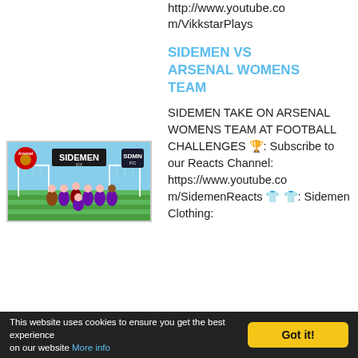http://www.youtube.com/VikkstarPlays
[Figure (photo): Thumbnail image showing the Sidemen vs Arsenal Womens Team football video, featuring the Sidemen group with Arsenal and SDMN FC logos on a football pitch background]
SIDEMEN VS ARSENAL WOMENS TEAM
SIDEMEN TAKE ON ARSENAL WOMENS TEAM AT FOOTBALL CHALLENGES 🏆: Subscribe to our Reacts Channel: https://www.youtube.com/SidemenReacts 👕 👕: Sidemen Clothing:
This website uses cookies to ensure you get the best experience on our website More info   Got it!